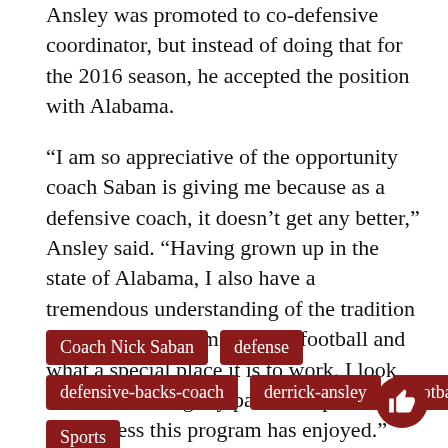Ansley was promoted to co-defensive coordinator, but instead of doing that for the 2016 season, he accepted the position with Alabama.
“I am so appreciative of the opportunity coach Saban is giving me because as a defensive coach, it doesn’t get any better,” Ansley said. “Having grown up in the state of Alabama, I also have a tremendous understanding of the tradition and history of Crimson Tide football and what a special place it is to work. I look forward to doing my part to help continue the success this program has enjoyed.”
Coach Nick Saban
defense
defensive-backs-coach
derrick-ansley
football
Sports